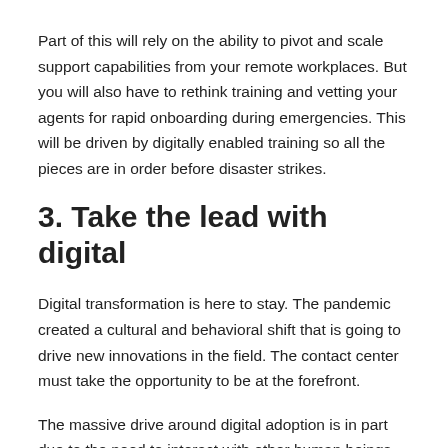Part of this will rely on the ability to pivot and scale support capabilities from your remote workplaces. But you will also have to rethink training and vetting your agents for rapid onboarding during emergencies. This will be driven by digitally enabled training so all the pieces are in order before disaster strikes.
3. Take the lead with digital
Digital transformation is here to stay. The pandemic created a cultural and behavioral shift that is going to drive new innovations in the field. The contact center must take the opportunity to be at the forefront.
The massive drive around digital adoption is in part due to the need to interact with other human beings. It's becoming a starting ground for organizations looking to reinvent...